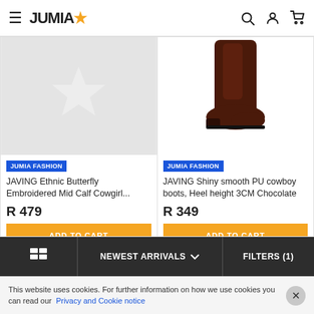JUMIA
[Figure (photo): Left product: gray placeholder image with Jumia star logo watermark]
JUMIA FASHION
JAVING Ethnic Butterfly Embroidered Mid Calf Cowgirl...
R 479
ADD TO CART
[Figure (photo): Right product: dark brown leather cowboy boot on white background]
JUMIA FASHION
JAVING Shiny smooth PU cowboy boots, Heel height 3CM Chocolate
R 349
ADD TO CART
NEWEST ARRIVALS  FILTERS (1)
This website uses cookies. For further information on how we use cookies you can read our Privacy and Cookie notice